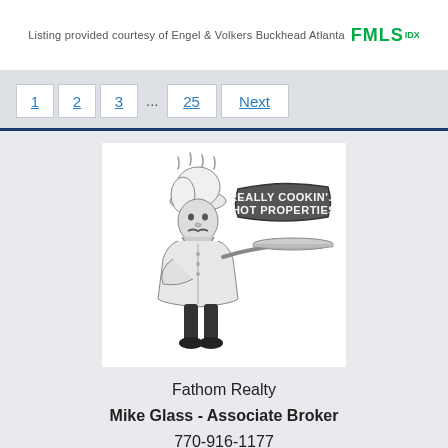Listing provided courtesy of Engel & Volkers Buckhead Atlanta FMLS IDX
1 2 3 ... 25 Next
[Figure (logo): Chef cartoon character holding a tray with text 'REALLY COOKIN'... HOT PROPERTIES' - Fathom Realty logo]
Fathom Realty
Mike Glass - Associate Broker
770-916-1177
888-455-6040